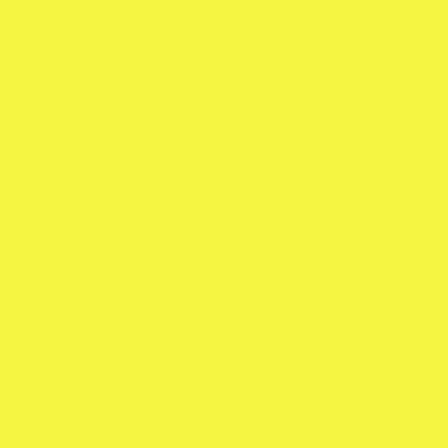| Rank | Peak | Trend | Artist | Song |
| --- | --- | --- | --- | --- |
| 6 | 5 | ↓ | Rauw Alejandro x Ca... | Tattoo (Remix) |
| 7 | 10 | ↑ | Ptazeta x Juacko | Mami |
| 8 | 6 | ↓ | Karol G | Ay, dios mío! |
| 9 | 7 | ↓ | Jay Wheeler, DJ Nels... | La curiosidad |
| 10 | 34 | ↑ | Ozuna, J Balvin & Ch... | Una locura |
| 11 | 9 | ↓ | Ozuna | Caramelo |
| 12 | 8 | ↓ | Rafa Pabön | A güiro |
| 13 | 21 | ↑ | Ozuna x Camilo | Despeinada |
| 14 | 11 | ↓ | Rvfv & Lola Indigo | Trendy |
| 15 | 12 | ↓ | J Balvin / Dua Lipa / ... | Un día (One Day) |